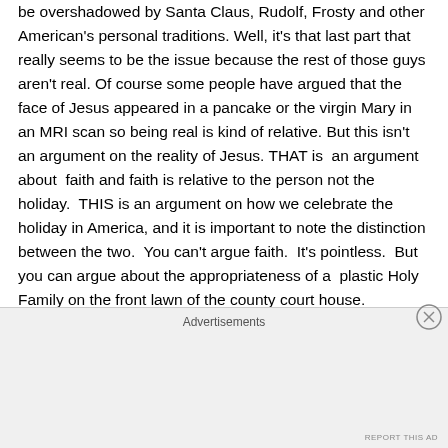be overshadowed by Santa Claus, Rudolf, Frosty and other American's personal traditions. Well, it's that last part that really seems to be the issue because the rest of those guys aren't real. Of course some people have argued that the face of Jesus appeared in a pancake or the virgin Mary in an MRI scan so being real is kind of relative. But this isn't an argument on the reality of Jesus. THAT is an argument about faith and faith is relative to the person not the holiday.  THIS is an argument on how we celebrate the holiday in America, and it is important to note the distinction between the two.  You can't argue faith.  It's pointless.  But you can argue about the appropriateness of a plastic Holy Family on the front lawn of the county court house.
Advertisements